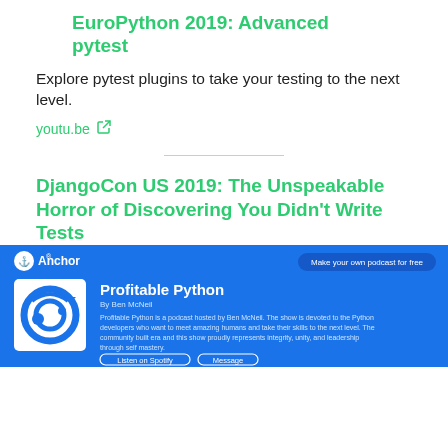EuroPython 2019: Advanced pytest
Explore pytest plugins to take your testing to the next level.
youtu.be 🔗
DjangoCon US 2019: The Unspeakable Horror of Discovering You Didn't Write Tests
Melanie Crutchfield discusses real-world testing.
youtu.be 🔗
Podcasts
[Figure (screenshot): Anchor podcast page for 'Profitable Python' by Ben McNeil showing podcast description and listen/message buttons on a blue background]